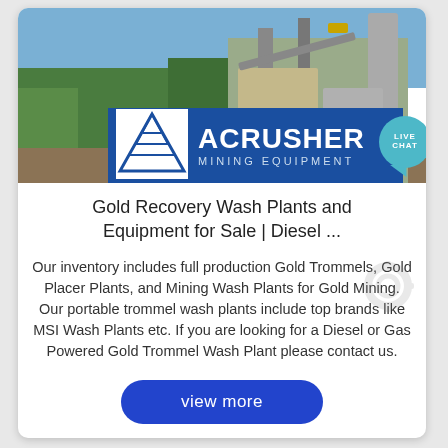[Figure (photo): Mining site with green vegetation in background and large industrial gold processing/wash plant equipment visible; branded with ACRUSHER Mining Equipment logo and a LIVE CHAT bubble in the top right.]
Gold Recovery Wash Plants and Equipment for Sale | Diesel ...
Our inventory includes full production Gold Trommels, Gold Placer Plants, and Mining Wash Plants for Gold Mining. Our portable trommel wash plants include top brands like MSI Wash Plants etc. If you are looking for a Diesel or Gas Powered Gold Trommel Wash Plant please contact us.
view more